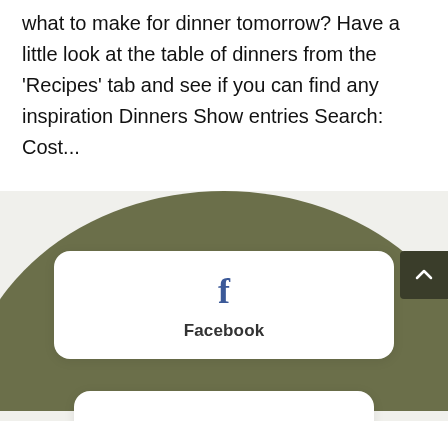what to make for dinner tomorrow? Have a little look at the table of dinners from the ‘Recipes’ tab and see if you can find any inspiration Dinners Show entries Search: Cost...
[Figure (screenshot): Dark olive green arch background with a white rounded card showing Facebook icon (blue letter f) and the label 'Facebook'. A second white card is partially visible below. A dark scroll-to-top button with an up arrow is at the right edge.]